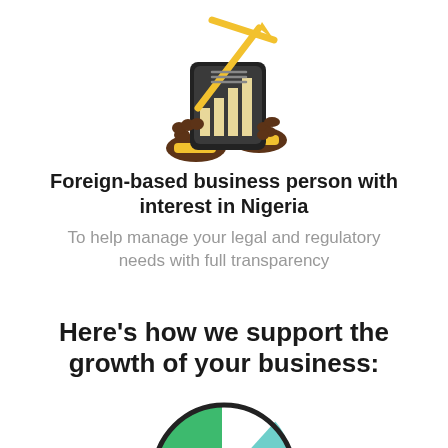[Figure (illustration): Hands holding a tablet/device with a bar chart and upward arrow on the screen, representing business growth and investment]
Foreign-based business person with interest in Nigeria
To help manage your legal and regulatory needs with full transparency
Here's how we support the growth of your business:
[Figure (illustration): Partial view of a globe/pie chart illustration in green and teal colors at the bottom of the page]